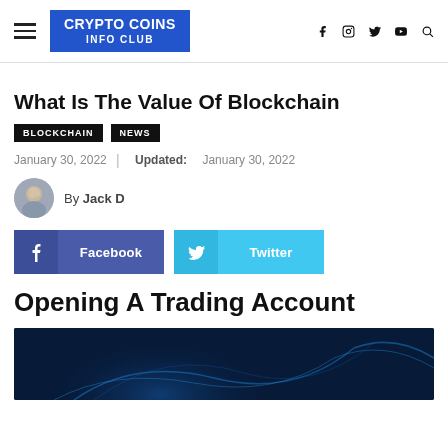CRYPTO COINS INFO CLUB
What Is The Value Of Blockchain
BLOCKCHAIN   NEWS
January 30, 2022 | Updated: January 30, 2022
By Jack D
Facebook   Twitter
Opening A Trading Account
[Figure (photo): Dark blue abstract digital/tech illustration, partially visible at page bottom]